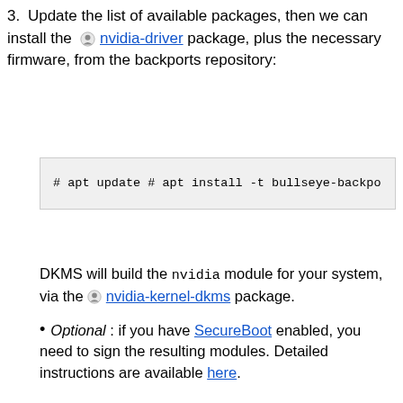3. Update the list of available packages, then we can install the nvidia-driver package, plus the necessary firmware, from the backports repository:
[Figure (screenshot): Code block showing: # apt update  and  # apt install -t bullseye-backports nvic...]
DKMS will build the nvidia module for your system, via the nvidia-kernel-dkms package.
Optional : if you have SecureBoot enabled, you need to sign the resulting modules. Detailed instructions are available here.
4. Reboot your system to load the updated driver.
Version 460.91.03
For support of GeForce 600 series and newer GPUs (